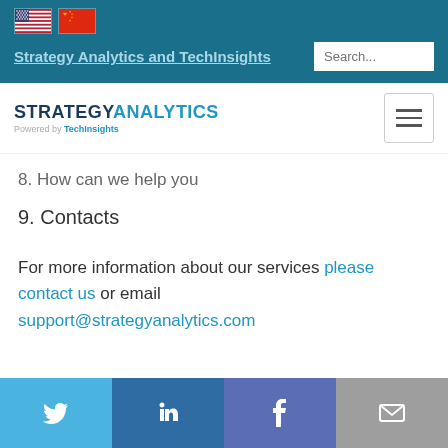Strategy Analytics and TechInsights
[Figure (logo): Strategy Analytics powered by TechInsights logo with hamburger menu icon]
8. How can we help you
9. Contacts
For more information about our services please contact us or email support@strategyanalytics.com
Social media links: Twitter, LinkedIn, Facebook, Email